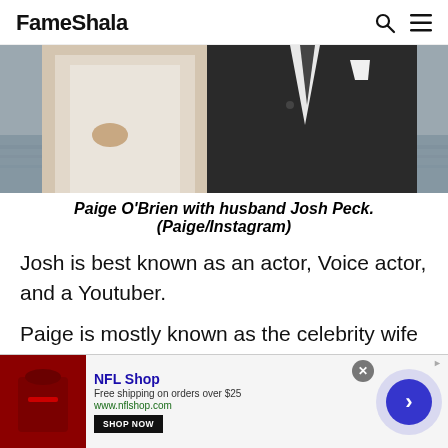FameShala
[Figure (photo): Close-up photo of a couple: a woman in a white lace dress and a man in a dark suit, standing outdoors near water.]
Paige O'Brien with husband Josh Peck. (Paige/Instagram)
Josh is best known as an actor, Voice actor, and a Youtuber.
Paige is mostly known as the celebrity wife of the actor and got prominence for the same.
[Figure (screenshot): NFL Shop advertisement banner: dark red helmet image, 'NFL Shop' heading in blue, 'Free shipping on orders over $25', 'www.nflshop.com', 'SHOP NOW' button, a forward arrow circle button, and a close (x) button.]